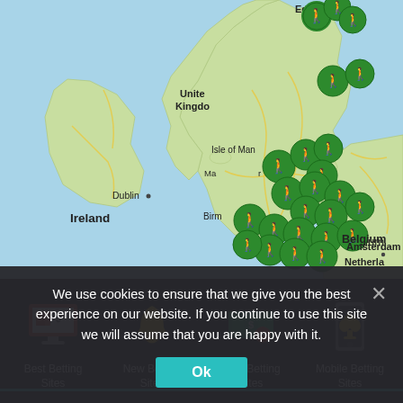[Figure (map): Map of UK and surrounding countries (Ireland, Netherlands, Belgium) showing multiple green marker pins clustered over England, particularly central and southern England. Cities labeled include Edinburgh, Dublin, Isle of Man, Manchester, Birmingham, Amsterdam, and Belgium.]
We use cookies to ensure that we give you the best experience on our website. If you continue to use this site we will assume that you are happy with it.
[Figure (infographic): Bottom navigation bar with four icons and labels: Best Betting Sites (computer monitor with betting icon), New Betting Sites (gold bell icon), Free Betting Sites (money with red minus icon), Mobile Betting Sites (mobile phone with spade icon).]